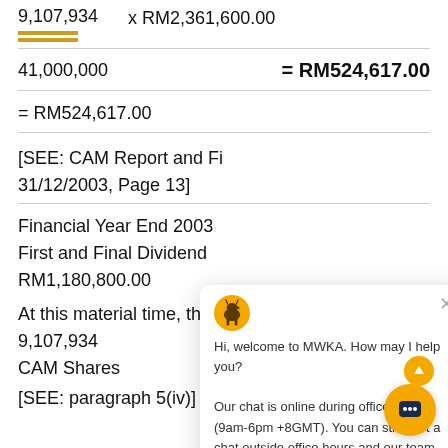9,107,934   x RM2,361,600.00
41,000,000   = RM524,617.00
[SEE: CAM Report and Fi... 31/12/2003, Page 13]
Financial Year End 2003
First and Final Dividend
RM1,180,800.00
At this material time, the Plaintiffs will have 9,107,934 CAM Shares
[SEE: paragraph 5(iv)]
[Figure (screenshot): Chat popup from MWKA website with goat logo, close button (×), and message: Hi, welcome to MWKA. How may I help you? Our chat is online during office hours (9am-6pm +8GMT). You can still start a chat outside office hours and our team will reply to you the next working day. Also shows a yellow chat button with up arrow.]